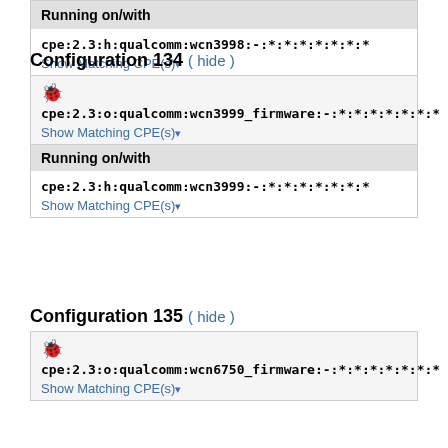Show Matching CPE(s)
Running on/with
cpe:2.3:h:qualcomm:wcn3998:-:*:*:*:*:*:*:*
Show Matching CPE(s)
Configuration 134 ( hide )
cpe:2.3:o:qualcomm:wcn3999_firmware:-:*:*:*:*:*:*:*
Show Matching CPE(s)
Running on/with
cpe:2.3:h:qualcomm:wcn3999:-:*:*:*:*:*:*:*
Show Matching CPE(s)
Configuration 135 ( hide )
cpe:2.3:o:qualcomm:wcn6750_firmware:-:*:*:*:*:*:*:*
Show Matching CPE(s)